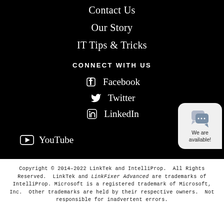Contact Us
Our Story
IT Tips & Tricks
CONNECT WITH US
Facebook
Twitter
LinkedIn
YouTube
We are available!
Copyright © 2014–2022 LinkTek and IntelliProp.  All Rights Reserved.  LinkTek and LinkFixer Advanced are trademarks of IntelliProp. Microsoft is a registered trademark of Microsoft, Inc.  Other trademarks are held by their respective owners.  Not responsible for inadvertent errors.